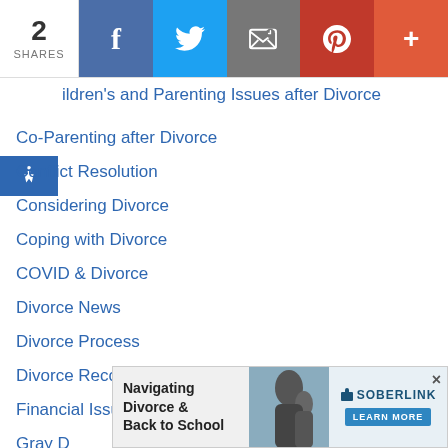2 SHARES | Facebook | Twitter | Email | Pinterest | More
Children's and Parenting Issues after Divorce
Co-Parenting after Divorce
Conflict Resolution
Considering Divorce
Coping with Divorce
COVID & Divorce
Divorce News
Divorce Process
Divorce Recovery
Financial Issues
Gray D...
[Figure (infographic): Advertisement banner: Navigating Divorce & Back to School - SoberLink LEARN MORE with photo of woman and child]